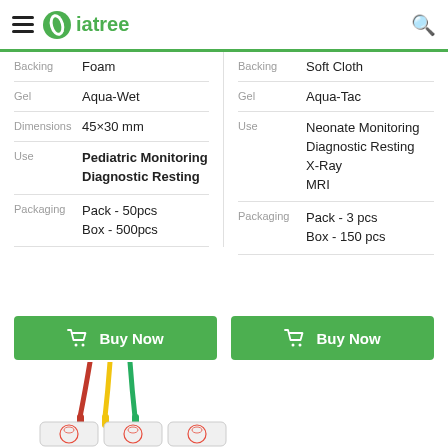iatree
| Label | Value |
| --- | --- |
| Backing | Foam |
| Gel | Aqua-Wet |
| Dimensions | 45×30 mm |
| Use | Pediatric Monitoring
Diagnostic Resting |
| Packaging | Pack - 50pcs
Box - 500pcs |
| Label | Value |
| --- | --- |
| Backing | Soft Cloth |
| Gel | Aqua-Tac |
| Use | Neonate Monitoring
Diagnostic Resting
X-Ray
MRI |
| Packaging | Pack - 3 pcs
Box - 150 pcs |
Buy Now
Buy Now
[Figure (photo): ECG electrode pads with colored lead wires (red, yellow, green) attached, showing three pediatric electrode pads with cat face design]